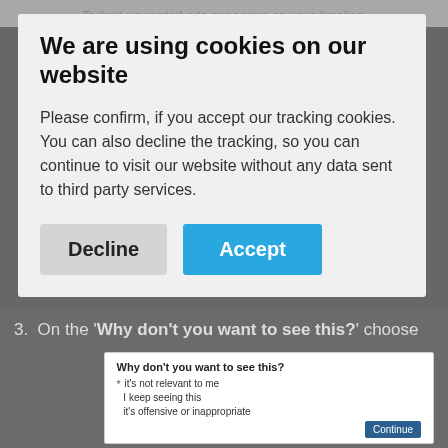We are using cookies on our website
Please confirm, if you accept our tracking cookies. You can also decline the tracking, so you can continue to visit our website without any data sent to third party services.
Decline   Accept
3.  On the 'Why don't you want to see this?' choose the relevant option
[Figure (screenshot): Screenshot of 'Why don't you want to see this?' dialog with options: it's not relevant to me, I keep seeing this, it's offensive or inappropriate, and a Continue button.]
Three ways of reducing unwanted content. First, click the down arrow at the top right corner.